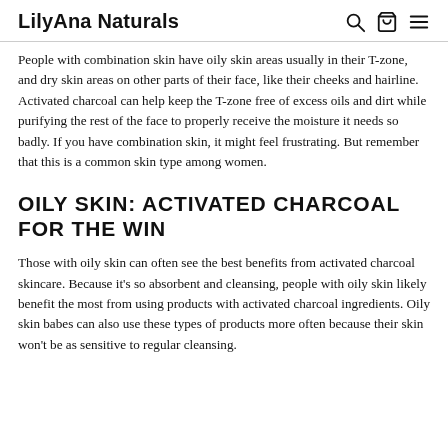LilyAna Naturals
People with combination skin have oily skin areas usually in their T-zone, and dry skin areas on other parts of their face, like their cheeks and hairline. Activated charcoal can help keep the T-zone free of excess oils and dirt while purifying the rest of the face to properly receive the moisture it needs so badly. If you have combination skin, it might feel frustrating. But remember that this is a common skin type among women.
OILY SKIN: ACTIVATED CHARCOAL FOR THE WIN
Those with oily skin can often see the best benefits from activated charcoal skincare. Because it’s so absorbent and cleansing, people with oily skin likely benefit the most from using products with activated charcoal ingredients. Oily skin babes can also use these types of products more often because their skin won’t be as sensitive to regular cleansing.